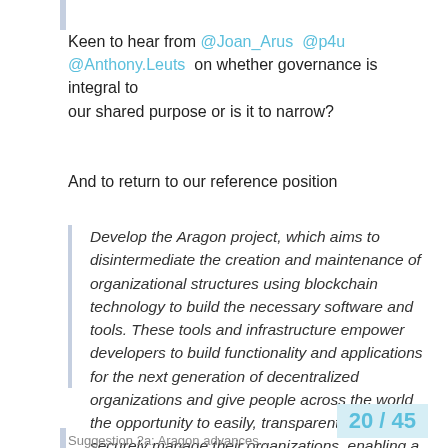Keen to hear from @Joan_Arus @p4u @Anthony.Leuts on whether governance is integral to our shared purpose or is it to narrow?
And to return to our reference position
Develop the Aragon project, which aims to disintermediate the creation and maintenance of organizational structures using blockchain technology to build the necessary software and tools. These tools and infrastructure empower developers to build functionality and applications for the next generation of decentralized organizations and give people across the world the opportunity to easily, transparently and securely manage their organizations, enabling a borderless, permissionless and more efficient creation of value
20 / 45
Suggestion 2a: Aragon advances...